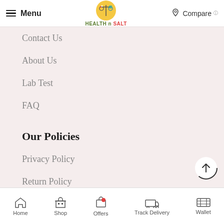Menu | HEALTH n SALT | Compare
Contact Us
About Us
Lab Test
FAQ
Our Policies
Privacy Policy
Return Policy
Home | Shop | Offers | Track Delivery | Wallet